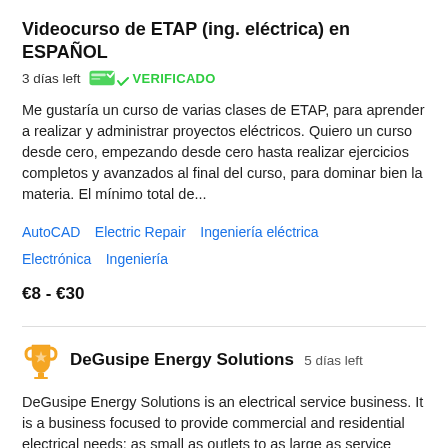Videocurso de ETAP (ing. eléctrica) en ESPAÑOL
3 días left   VERIFICADO
Me gustaría un curso de varias clases de ETAP, para aprender a realizar y administrar proyectos eléctricos. Quiero un curso desde cero, empezando desde cero hasta realizar ejercicios completos y avanzados al final del curso, para dominar bien la materia. El mínimo total de...
AutoCAD
Electric Repair
Ingeniería eléctrica
Electrónica
Ingeniería
€8 - €30
DeGusipe Energy Solutions  5 días left
DeGusipe Energy Solutions is an electrical service business. It is a business focused to provide commercial and residential electrical needs; as small as outlets to as large as service entrances. We are looking for a logo to brand ourselves. Preferably a simple, clean logo with a